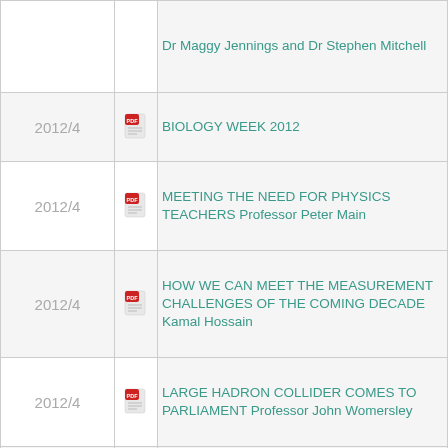| Year | Icon | Title/Author |
| --- | --- | --- |
|  |  | Dr Maggy Jennings and Dr Stephen Mitchell |
| 2012/4 | PDF | BIOLOGY WEEK 2012 |
| 2012/4 | PDF | MEETING THE NEED FOR PHYSICS TEACHERS Professor Peter Main |
| 2012/4 | PDF | HOW WE CAN MEET THE MEASUREMENT CHALLENGES OF THE COMING DECADE Kamal Hossain |
| 2012/4 | PDF | LARGE HADRON COLLIDER COMES TO PARLIAMENT Professor John Womersley |
| 2012/4 | PDF | MARS – A HAPPY LANDING Professor John Zarnecki |
| 2012/3 | PDF | GETTING MORE PEOPLE TO DO... |